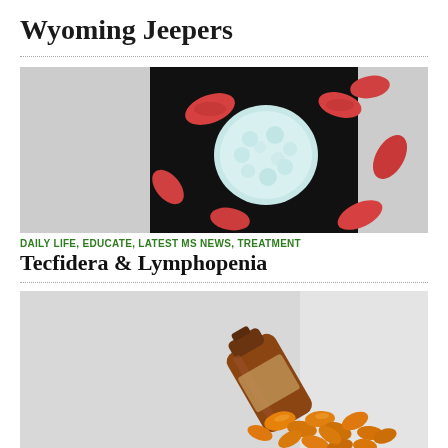Wyoming Jeepers
[Figure (photo): Medical illustration of a white blood cell surrounded by red blood cells on a dark background]
DAILY LIFE, EDUCATE, LATEST MS NEWS, TREATMENT
Tecfidera & Lymphopenia
[Figure (photo): Photo of amber/orange gel capsules spilling out of a brown glass bottle]
DAILY LIFE, EDUCATE, LATEST MS NEWS, TREATMENT
Vitamin D Hoopla
[Figure (photo): Partial image at bottom of page, partially visible]